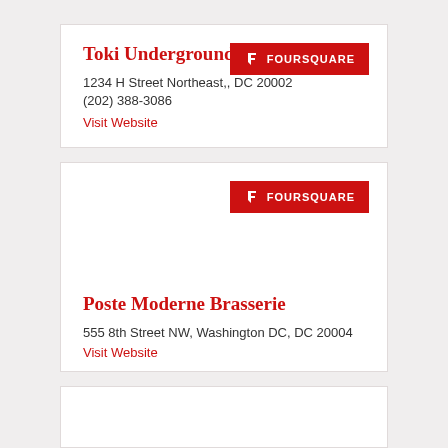Toki Underground
1234 H Street Northeast,, DC 20002
(202) 388-3086
Visit Website
[Figure (logo): Foursquare button with flag icon and text FOURSQUARE]
Poste Moderne Brasserie
555 8th Street NW, Washington DC, DC 20004
Visit Website
[Figure (logo): Foursquare button with flag icon and text FOURSQUARE]